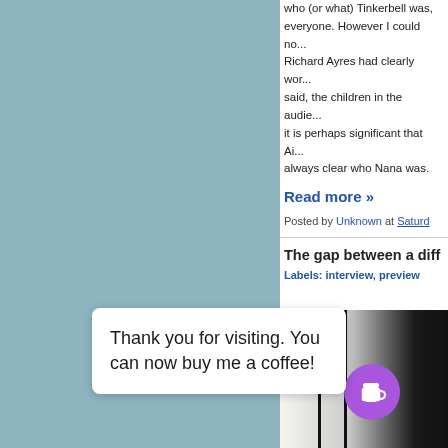who (or what) Tinkerbell was, everyone. However I could no... Richard Ayres had clearly wor... said, the children in the audie... it is perhaps significant that Ai... always clear who Nana was.
Read more »
Posted by Unknown at Saturd...
The gap between a diff...
Labels: interview, preview
[Figure (photo): Partial photo showing vertical dark lines against light and dark background, with a purple coffee cup button overlay]
Thank you for visiting. You can now buy me a coffee!